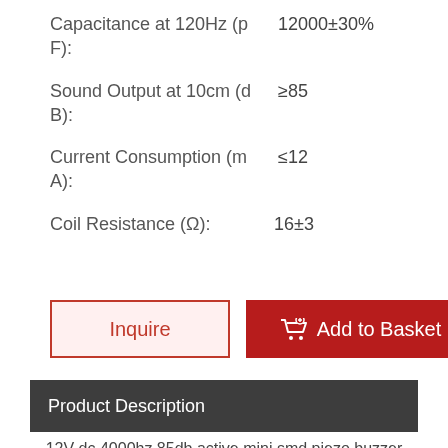Capacitance at 120Hz (pF):  12000±30%
Sound Output at 10cm (dB):  ≥85
Current Consumption (mA):  ≤12
Coil Resistance (Ω): 16±3
Inquire | Add to Basket
Product Description
12V dc 4000hz 85db active mini smd piezo buzzer